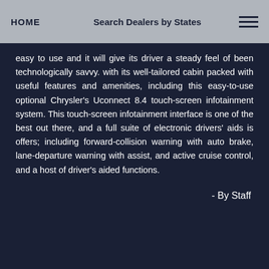HOME | Search Dealers by States | ≡
easy to use and it will give its driver a steady feel of been technologically savvy. with its well-tailored cabin packed with useful features and amenities, including this easy-to-use optional Chrysler's Uconnect 8.4 touch-screen infotainment system. This touch-screen infotainment interface is one of the best out there, and a full suite of electronic drivers' aids is offers; including forward-collision warning with auto brake, lane-departure warning with assist, and active cruise control, and a host of driver's aided functions.
- By Staff